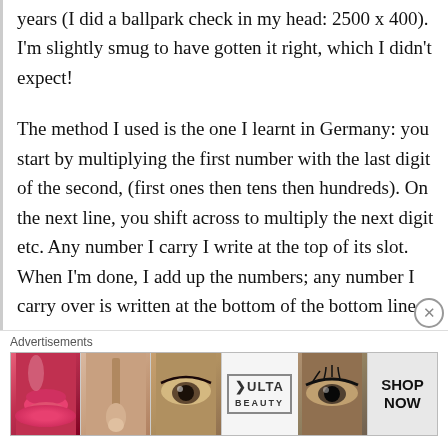years (I did a ballpark check in my head: 2500 x 400). I'm slightly smug to have gotten it right, which I didn't expect!

The method I used is the one I learnt in Germany: you start by multiplying the first number with the last digit of the second, (first ones then tens then hundreds). On the next line, you shift across to multiply the next digit etc. Any number I carry I write at the top of its slot.
When I'm done, I add up the numbers; any number I carry over is written at the bottom of the bottom line.
[Figure (other): Ulta Beauty advertisement banner showing closeup beauty photos (lips with red lipstick, makeup brush, eye with shadow, Ulta Beauty logo, eye with dramatic makeup) and a 'SHOP NOW' call to action button]